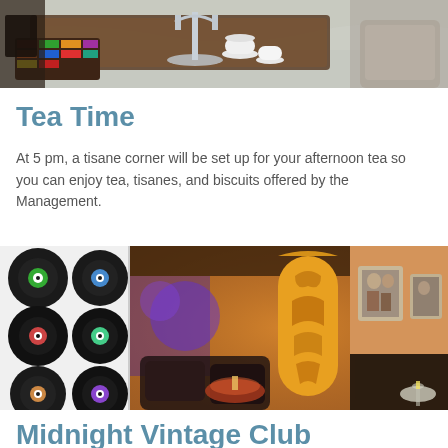[Figure (photo): Interior photo showing an elegant tea setup with silver candelabra, tea cups, colorful tea bags in a box, and luxury furnishings on marble floor]
Tea Time
At 5 pm, a tisane corner will be set up for your afternoon tea so you can enjoy tea, tisanes, and biscuits offered by the Management.
[Figure (photo): Two-part photo: left side shows vinyl records on a wall in black and white; right side shows a warmly lit vintage lounge/club interior with colored lighting, decorative screens, and seating]
Midnight Vintage Club